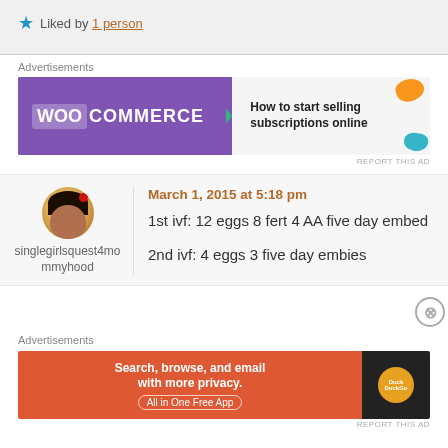Liked by 1 person
Advertisements
[Figure (screenshot): WooCommerce advertisement banner: 'How to start selling subscriptions online']
REPORT THIS AD
singlegirlsquest4mommyhood
March 1, 2015 at 5:18 pm
1st ivf: 12 eggs 8 fert 4 AA five day embed
2nd ivf: 4 eggs 3 five day embies
Advertisements
[Figure (screenshot): DuckDuckGo advertisement: 'Search, browse, and email with more privacy. All in One Free App']
REPORT THIS AD